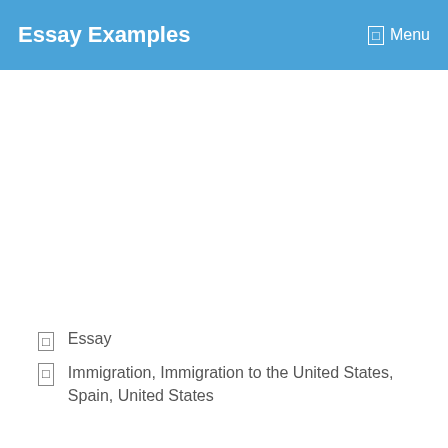Essay Examples   Menu
Essay
Immigration, Immigration to the United States, Spain, United States